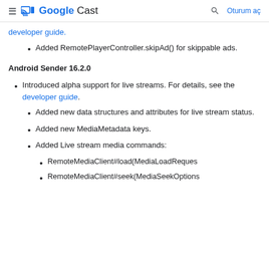Google Cast — Oturum aç
developer guide.
Added RemotePlayerController.skipAd() for skippable ads.
Android Sender 16.2.0
Introduced alpha support for live streams. For details, see the developer guide.
Added new data structures and attributes for live stream status.
Added new MediaMetadata keys.
Added Live stream media commands:
RemoteMediaClient#load(MediaLoadReques...
RemoteMediaClient#seek(MediaSeekOptions...